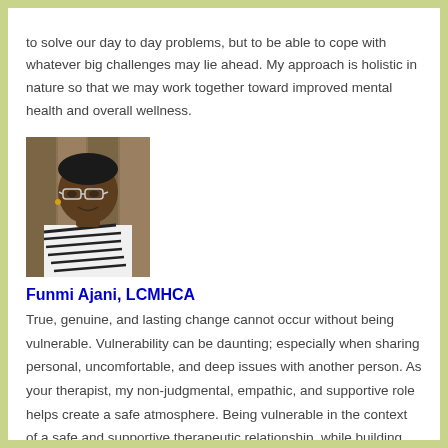to solve our day to day problems, but to be able to cope with whatever big challenges may lie ahead. My approach is holistic in nature so that we may work together toward improved mental health and overall wellness.
[Figure (photo): Portrait photo of Funmi Ajani, a woman wearing glasses and a black and white patterned top, photographed outdoors.]
Funmi Ajani, LCMHCA
True, genuine, and lasting change cannot occur without being vulnerable. Vulnerability can be daunting; especially when sharing personal, uncomfortable, and deep issues with another person. As your therapist, my non-judgmental, empathic, and supportive role helps create a safe atmosphere. Being vulnerable in the context of a safe and supportive therapeutic relationship, while building skills will increase your ability to